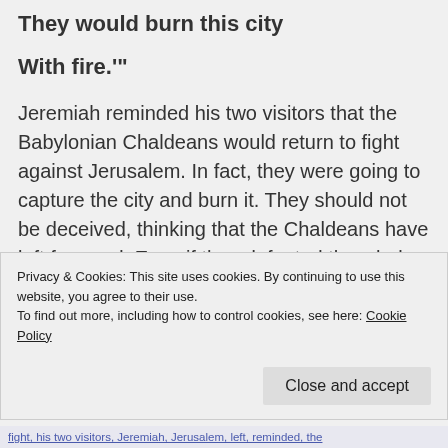They would burn this city
With fire."'
Jeremiah reminded his two visitors that the Babylonian Chaldeans would return to fight against Jerusalem. In fact, they were going to capture the city and burn it. They should not be deceived, thinking that the Chaldeans have left for good. Even if they defeated the whole Chaldean army, the
Privacy & Cookies: This site uses cookies. By continuing to use this website, you agree to their use.
To find out more, including how to control cookies, see here: Cookie Policy
fight, his two visitors, Jeremiah, Jerusalem, left, reminded, the